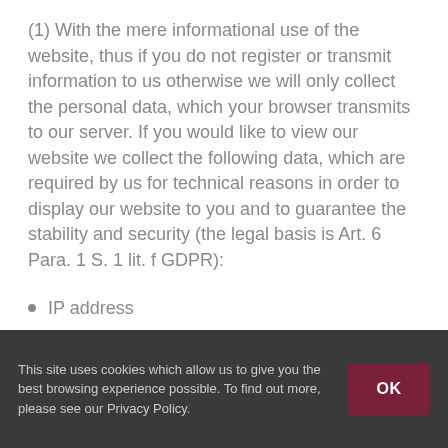(1) With the mere informational use of the website, thus if you do not register or transmit information to us otherwise we will only collect the personal data, which your browser transmits to our server. If you would like to view our website we collect the following data, which are required by us for technical reasons in order to display our website to you and to guarantee the stability and security (the legal basis is Art. 6 Para. 1 S. 1 lit. f GDPR):
IP address
This site uses cookies which allow us to give you the best browsing experience possible. To find out more, please see our Privacy Policy.